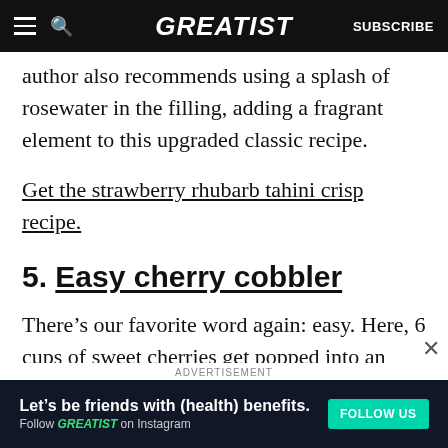GREATIST | SUBSCRIBE
author also recommends using a splash of rosewater in the filling, adding a fragrant element to this upgraded classic recipe.
Get the strawberry rhubarb tahini crisp recipe.
5. Easy cherry cobbler
There’s our favorite word again: easy. Here, 6 cups of sweet cherries get popped into an oven-safe skillet, where they release their juices during
ADVERTISEMENT
Let’s be friends with (health) benefits. Follow GREATIST on Instagram FOLLOW US